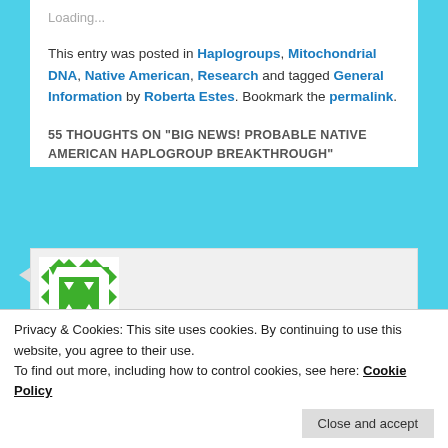Loading...
This entry was posted in Haplogroups, Mitochondrial DNA, Native American, Research and tagged General Information by Roberta Estes. Bookmark the permalink.
55 THOUGHTS ON "BIG NEWS! PROBABLE NATIVE AMERICAN HAPLOGROUP BREAKTHROUGH"
[Figure (illustration): Green geometric avatar/gravatar with triangular patterns on a white square background]
Privacy & Cookies: This site uses cookies. By continuing to use this website, you agree to their use.
To find out more, including how to control cookies, see here: Cookie Policy
Close and accept
NA Populations IMHO are more exciting than the